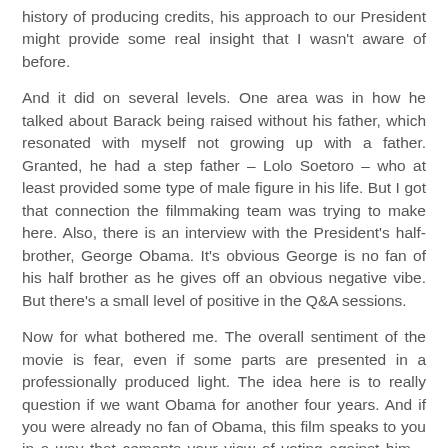history of producing credits, his approach to our President might provide some real insight that I wasn't aware of before.
And it did on several levels. One area was in how he talked about Barack being raised without his father, which resonated with myself not growing up with a father. Granted, he had a step father – Lolo Soetoro – who at least provided some type of male figure in his life. But I got that connection the filmmaking team was trying to make here. Also, there is an interview with the President's half-brother, George Obama. It's obvious George is no fan of his half brother as he gives off an obvious negative vibe. But there's a small level of positive in the Q&A sessions.
Now for what bothered me. The overall sentiment of the movie is fear, even if some parts are presented in a professionally produced light. The idea here is to really question if we want Obama for another four years. And if you were already no fan of Obama, this film speaks to you in a way that cements your view of voting against him – preaching to the choir.
But this liberal Democrat wasn't swayed by this film. The